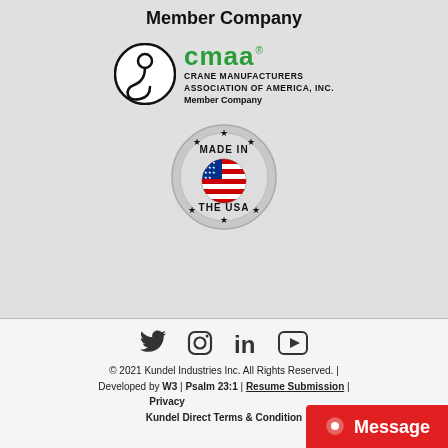Member Company
[Figure (logo): CMAA - Crane Manufacturers Association of America, Inc. Member Company logo with circular crane hook icon and green CMAA text]
[Figure (logo): Made in the USA badge - circular silver badge with stars and American flag in center]
[Figure (other): Social media icons: Twitter, Instagram, LinkedIn, YouTube]
© 2021 Kundel Industries Inc. All Rights Reserved. | Developed by W3 | Psalm 23:1 | Resume Submission | Privacy | Kundel Direct Terms & Conditions | Terms & Conditions